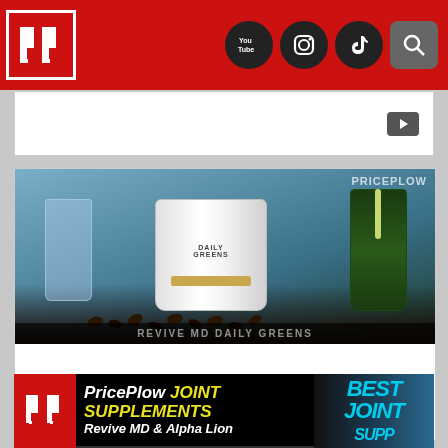[Figure (screenshot): PricePlow website header with red background, white PP logo, and social media icons for YouTube, Instagram, TikTok, and a search button]
[Figure (photo): Video thumbnail placeholder with play button]
[Figure (photo): Revive MD Daily Greens supplement container (white jar labeled Daily Greens) on a table surrounded by coffee beans, with a green smoothie in the background and PRICEPLOW watermark]
Revive MD Daily Greens Espresso Flavor For Your Morning Greens
[Figure (photo): PricePlow Joint Supplements banner featuring Revive MD and Alpha Lion products, with a man and supplement bottles, text reading BEST JOINT SUPP in cyan]